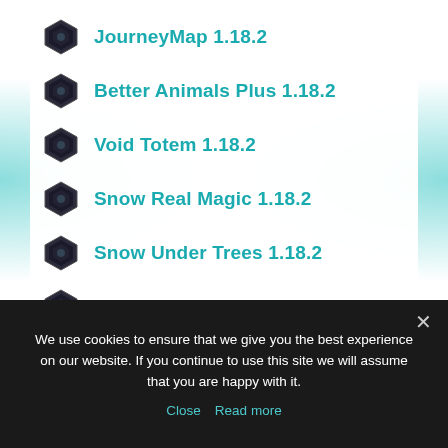JourneyMap 1.18.2
Better Animals Plus 1.18.2
Void Totem 1.18.2
Snow Real Magic 1.18.2
Snow Under Trees 1.18.2
Scuba Gear 1.18.2
Player Plates 1.18.2
Bonsai Trees 1.18.2
We use cookies to ensure that we give you the best experience on our website. If you continue to use this site we will assume that you are happy with it.
Close  Read more